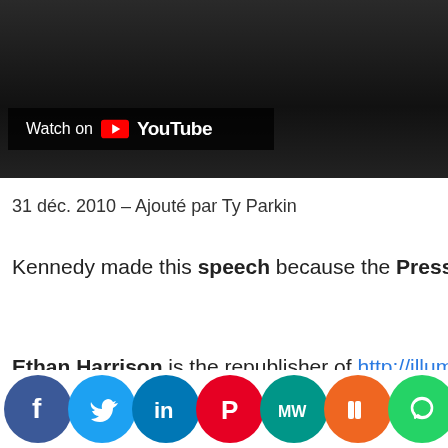[Figure (screenshot): YouTube video thumbnail showing black and white image with 'Watch on YouTube' badge overlay]
31 déc. 2010 – Ajouté par Ty Parkin
Kennedy made this speech because the Press had leaked US Milita…
Ethan Harrison is the republisher of http://illuminatihunter.com/
[Figure (infographic): Social media sharing buttons row: Facebook, Twitter, LinkedIn, Pinterest, MeWe, Mix, WhatsApp, More]